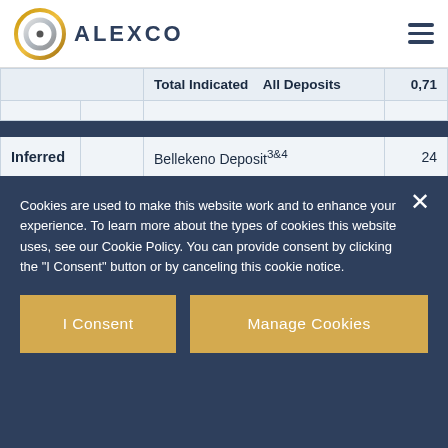ALEXCO
| Category |  | Deposit | Value |
| --- | --- | --- | --- |
| Total Indicated | All Deposits | 0,71 |
|  |  |  |
| Inferred | Bellekeno Deposit3&4 | 24 |
|  | Lucky Queen Deposit3&5 | 25 |
|  | Flame & Moth Deposit3&5 | 36 |
|  | ...3&5 | ... |
Cookies are used to make this website work and to enhance your experience. To learn more about the types of cookies this website uses, see our Cookie Policy. You can provide consent by clicking the "I Consent" button or by canceling this cookie notice.